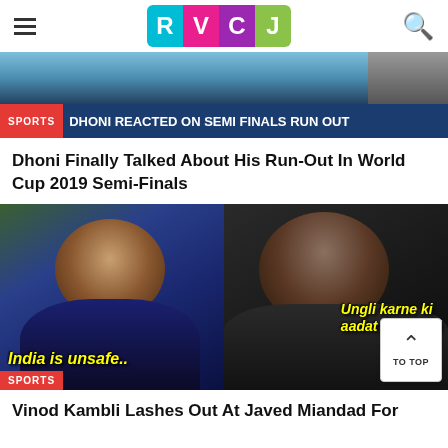RVCJ
[Figure (screenshot): RVCJ website screenshot showing sports news articles with meme images]
SPORTS | DHONI REACTED ON SEMI FINALS RUN OUT
Dhoni Finally Talked About His Run-Out In World Cup 2019 Semi-Finals
[Figure (photo): Meme image split into two: left side shows man with text 'India is unsafe..', right side shows another man with text 'Ungli karne ki aadat gayi nahi']
Vinod Kambli Lashes Out At Javed Miandad For